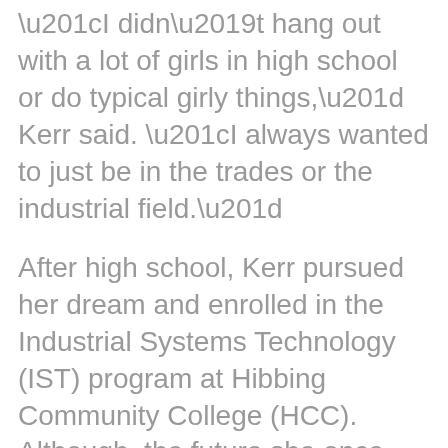“I didn’t hang out with a lot of girls in high school or do typical girly things,” Kerr said. “I always wanted to just be in the trades or the industrial field.”
After high school, Kerr pursued her dream and enrolled in the Industrial Systems Technology (IST) program at Hibbing Community College (HCC). Although, the future she once envisioned as a little girl changed. Continue reading at the Hibbing Daily Tribune–>